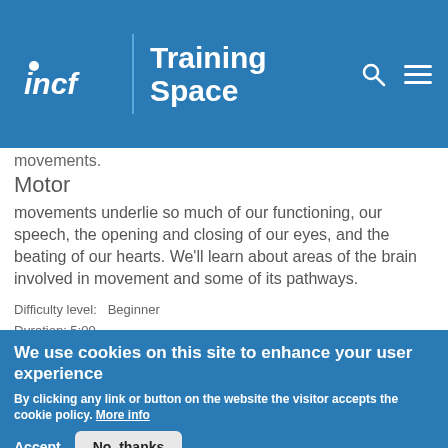INCF Training Space
movements.
Motor
movements underlie so much of our functioning, our speech, the opening and closing of our eyes, and the beating of our hearts. We'll learn about areas of the brain involved in movement and some of its pathways.
Difficulty level:   Beginner
Duration: 5:00
Speaker: : Harrison Canning
We use cookies on this site to enhance your user experience
By clicking any link or button on the website the visitor accepts the cookie policy. More info
Accept  No, thanks